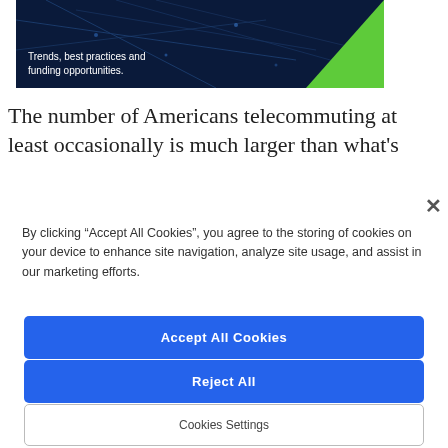[Figure (photo): Banner image showing aerial/technology imagery with text 'Trends, best practices and funding opportunities.' on dark blue background with green accent triangle]
The number of Americans telecommuting at least occasionally is much larger than what's
By clicking “Accept All Cookies”, you agree to the storing of cookies on your device to enhance site navigation, analyze site usage, and assist in our marketing efforts.
Accept All Cookies
Reject All
Cookies Settings